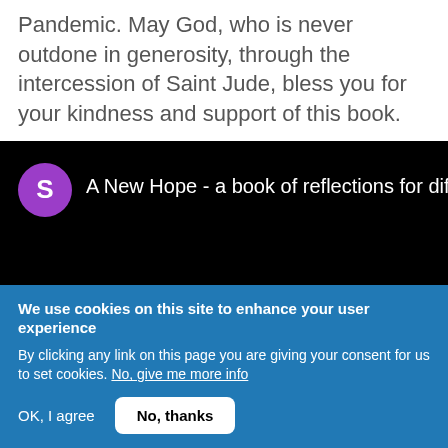Pandemic. May God, who is never outdone in generosity, through the intercession of Saint Jude, bless you for your kindness and support of this book.
[Figure (screenshot): Black video player thumbnail with purple avatar circle showing letter S and white text 'A New Hope - a book of reflections for difficult ti...']
We use cookies on this site to enhance your user experience
By clicking any link on this page you are giving your consent for us to set cookies. No, give me more info
OK, I agree
No, thanks